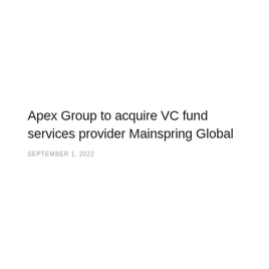Apex Group to acquire VC fund services provider Mainspring Global
SEPTEMBER 1, 2022